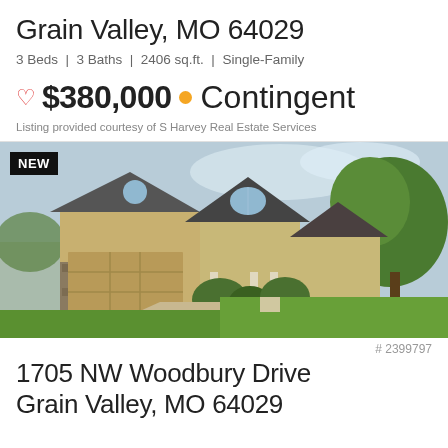Grain Valley, MO 64029
3 Beds | 3 Baths | 2406 sq.ft. | Single-Family
♡ $380,000 • Contingent
Listing provided courtesy of S Harvey Real Estate Services
[Figure (photo): Exterior photo of a two-story single-family home with tan/beige siding, stone accents, two-car garage, arched upper window, and lush green landscaping. Badge reads NEW.]
# 2399797
1705 NW Woodbury Drive
Grain Valley, MO 64029